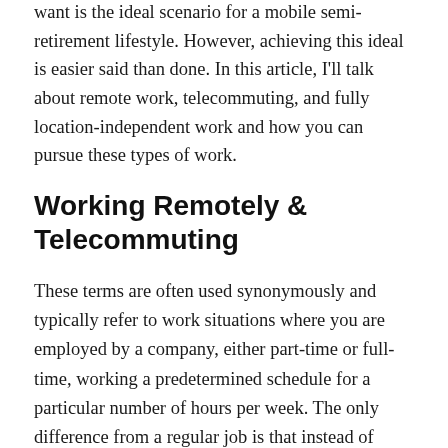Being able to work from wherever and whenever you want is the ideal scenario for a mobile semi-retirement lifestyle. However, achieving this ideal is easier said than done. In this article, I'll talk about remote work, telecommuting, and fully location-independent work and how you can pursue these types of work.
Working Remotely & Telecommuting
These terms are often used synonymously and typically refer to work situations where you are employed by a company, either part-time or full-time, working a predetermined schedule for a particular number of hours per week. The only difference from a regular job is that instead of driving to a factory or office every day you work from home or some other remote location.